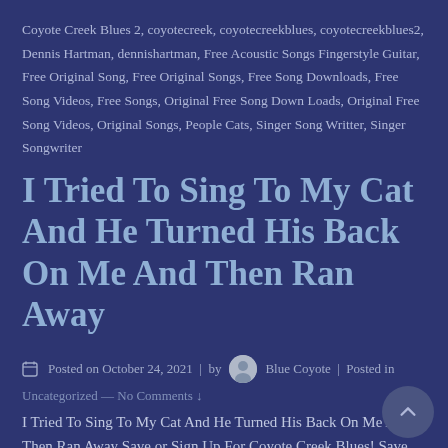Coyote Creek Blues 2, coyotecreek, coyotecreekblues, coyotecreekblues2, Dennis Hartman, dennishartman, Free Acoustic Songs Fingerstyle Guitar, Free Original Song, Free Original Songs, Free Song Downloads, Free Song Videos, Free Songs, Original Free Song Down Loads, Original Free Song Videos, Original Songs, People Cats, Singer Song Writter, Singer Songwriter
I Tried To Sing To My Cat And He Turned His Back On Me And Then Ran Away
Posted on October 24, 2021 | by Blue Coyote | Posted in Uncategorized — No Comments ↓
I Tried To Sing To My Cat And He Turned His Back On Me And Then Ran Away Save or Sign Up For Coyote Creek Blues! Save this website under favorites. Sign Up to receive Updates on ... Original Songs...